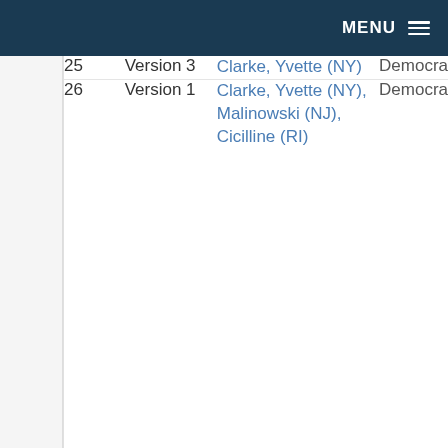MENU
| # | Version | Sponsor | Party |
| --- | --- | --- | --- |
| 25 | Version 3 | Clarke, Yvette (NY) | Democrat |
| 26 | Version 1 | Clarke, Yvette (NY), Malinowski (NJ), Cicilline (RI) | Democrat |